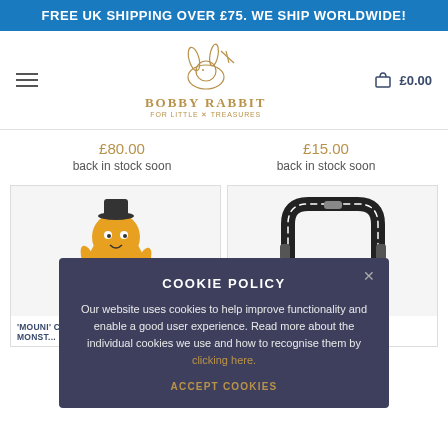FREE UK SHIPPING OVER £75. WE SHIP WORLDWIDE!
[Figure (logo): Bobby Rabbit logo with rabbit illustration and text 'BOBBY RABBIT FOR LITTLE X TREASURES']
£0.00
£80.00
back in stock soon
£15.00
back in stock soon
[Figure (photo): Yellow crocheted monster toy character named 'Mouni' with black hat and spotted clothing]
'MOUNI' CU... MONST...
[Figure (photo): Black metal frame/handle product, appears to be a bag or carrier frame]
COOKIE POLICY

Our website uses cookies to help improve functionality and enable a good user experience. Read more about the individual cookies we use and how to recognise them by clicking here.

ACCEPT COOKIES